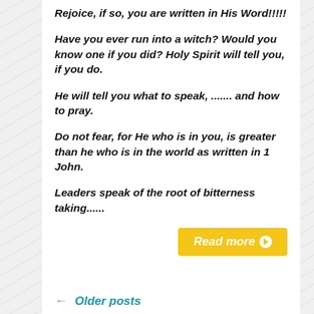Rejoice, if so, you are written in His Word!!!!!
Have you ever run into a witch? Would you know one if you did? Holy Spirit will tell you, if you do.
He will tell you what to speak, ....... and how to pray.
Do not fear, for He who is in you, is greater than he who is in the world as written in 1 John.
Leaders speak of the root of bitterness taking......
Read more ➤
← Older posts